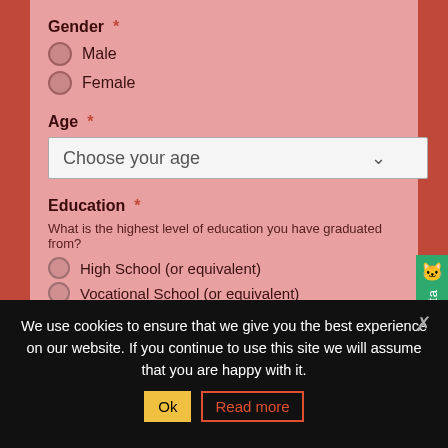Gender *
Male
Female
Age *
Choose your age
Education *
What is the highest level of education you have graduated from?
High School (or equivalent)
Vocational School (or equivalent)
University (or higher)
B-tech Level 3 (or higher)
A Levels (or equivalent)
Polytechnic
We use cookies to ensure that we give you the best experience on our website. If you continue to use this site we will assume that you are happy with it.
Ok
Read more